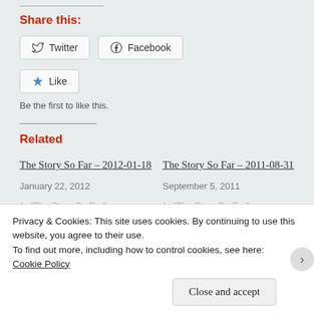Share this:
[Figure (screenshot): Share buttons: Twitter and Facebook]
[Figure (screenshot): Like button with star icon]
Be the first to like this.
Related
The Story So Far – 2012-01-18
January 22, 2012
In "The Story So Far"
The Story So Far – 2011-08-31
September 5, 2011
In "The Story So Far"
Privacy & Cookies: This site uses cookies. By continuing to use this website, you agree to their use.
To find out more, including how to control cookies, see here:
Cookie Policy